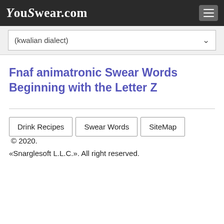YouSwear.com
(kwalian dialect)
Fnaf animatronic Swear Words Beginning with the Letter Z
Drink Recipes  Swear Words  SiteMap  © 2020. «Snarglesoft L.L.C.». All right reserved.